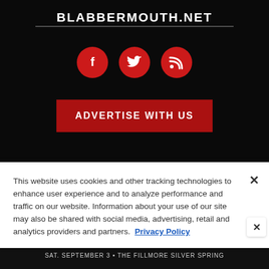BLABBERMOUTH.NET
[Figure (infographic): Three red circular social media icons: Facebook (f), Twitter (bird), RSS feed]
[Figure (infographic): Red button with text ADVERTISE WITH US]
This website uses cookies and other tracking technologies to enhance user experience and to analyze performance and traffic on our website. Information about your use of our site may also be shared with social media, advertising, retail and analytics providers and partners. Privacy Policy
[Figure (infographic): Advertisement banner: CARPENTER BRUT, SAT. SEPTEMBER 3 • THE FILLMORE SILVER SPRING]